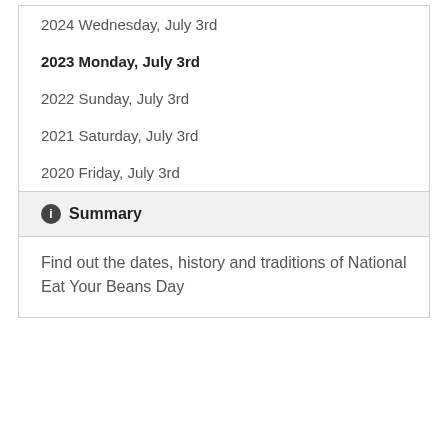2024 Wednesday, July 3rd
2023 Monday, July 3rd
2022 Sunday, July 3rd
2021 Saturday, July 3rd
2020 Friday, July 3rd
Summary
Find out the dates, history and traditions of National Eat Your Beans Day